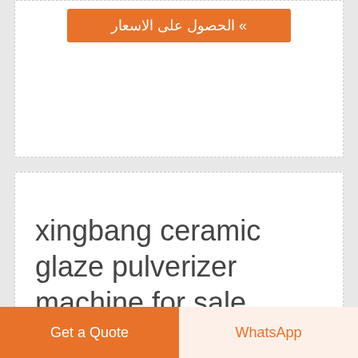» الحصول على الاسعار
xingbang ceramic glaze pulverizer machine for sale in ...
[Figure (photo): Industrial ceramic glaze pulverizer machines in a factory setting, showing large dark cylindrical grinding machines with red accent bands, mounted on stands inside a building with structural columns]
[Figure (illustration): Small cartoon illustration of a woman in business attire pointing, next to a blue Free chat button]
Free chat
Get a Quote
WhatsApp